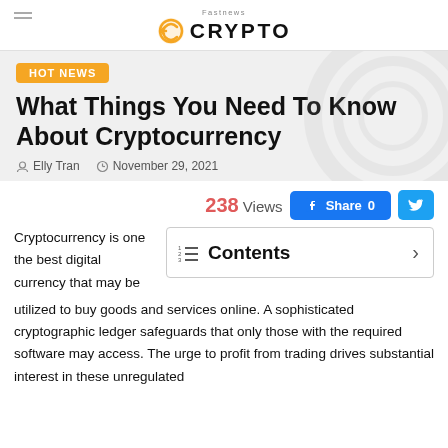Fastnews CRYPTO
HOT NEWS
What Things You Need To Know About Cryptocurrency
Elly Tran   November 29, 2021
238 Views   Share 0
Contents
Cryptocurrency is one the best digital currency that may be utilized to buy goods and services online. A sophisticated cryptographic ledger safeguards that only those with the required software may access. The urge to profit from trading drives substantial interest in these unregulated